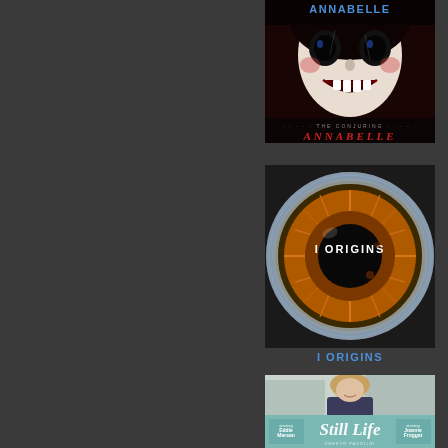[Figure (photo): Movie poster for Annabelle horror film showing a creepy doll face with The Conjuring branding]
ANNABELLE
[Figure (photo): Movie poster for I Origins showing a close-up of a human eye iris with the title text overlaid]
I ORIGINS
[Figure (photo): Movie poster for Still Life showing a smiling woman and film title credits]